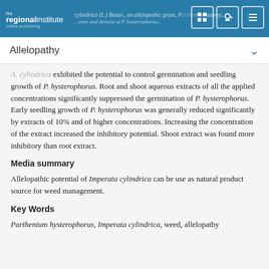the regional institute online publishing — cylindrica (L.) Beauv., an allelopathic grass, Parthenium survey — ...ence and density of P. hysterophorus...
Allelopathy
A. cylindrica exhibited the potential to control germination and seedling growth of P. hysterophorus. Root and shoot aqueous extracts of all the applied concentrations significantly suppressed the germination of P. hysterophorus. Early seedling growth of P. hysterophorus was generally reduced significantly by extracts of 10% and of higher concentrations. Increasing the concentration of the extract increased the inhibitory potential. Shoot extract was found more inhibitory than root extract.
Media summary
Allelopathic potential of Imperata cylindrica can be use as natural product source for weed management.
Key Words
Parthenium hysterophorus, Imperata cylindrica, weed, allelopathy